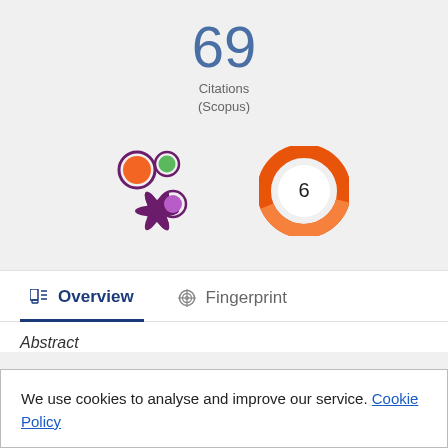69
Citations
(Scopus)
[Figure (logo): Altmetric logo — purple splash mark with orange, green, and purple colored circles]
[Figure (donut-chart): Orange donut/ring badge showing the number 6 in the center]
Overview
Fingerprint
Abstract
We use cookies to analyse and improve our service. Cookie Policy